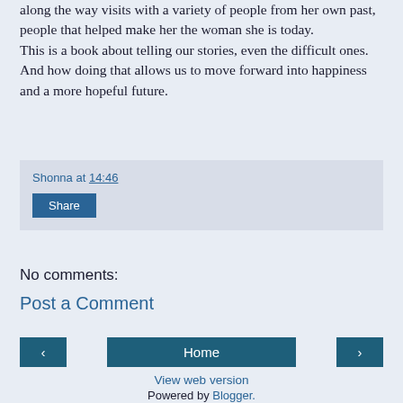along the way visits with a variety of people from her own past, people that helped make her the woman she is today. This is a book about telling our stories, even the difficult ones. And how doing that allows us to move forward into happiness and a more hopeful future.
Shonna at 14:46
Share
No comments:
Post a Comment
‹
Home
›
View web version
Powered by Blogger.